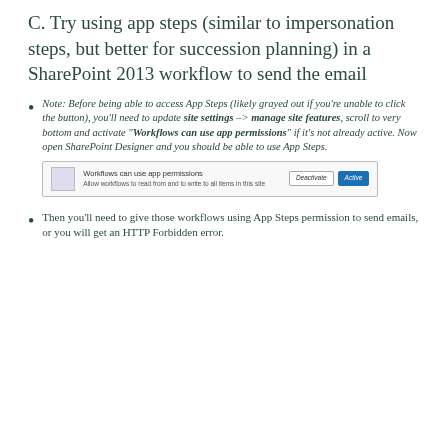C. Try using app steps (similar to impersonation steps, but better for succession planning) in a SharePoint 2013 workflow to send the email
Note: Before being able to access App Steps (likely grayed out if you're unable to click the button), you'll need to update site settings --> manage site features, scroll to very bottom and activate "Workflows can use app permissions" if it's not already active. Now open SharePoint Designer and you should be able to use App Steps.
[Figure (screenshot): Screenshot of SharePoint site feature row: 'Workflows can use app permissions - Allow workflows to read from and to write to all items in this site' with Deactivate and Active buttons]
Then you'll need to give those workflows using App Steps permission to send emails, or you will get an HTTP Forbidden error.